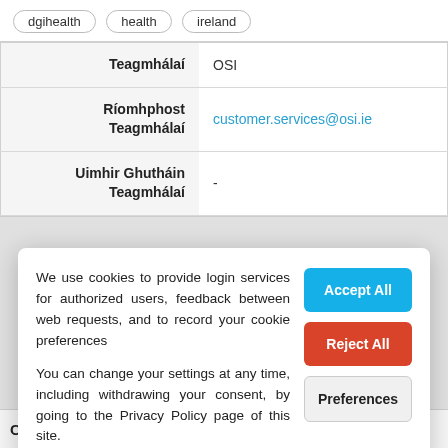dgihealth
health
ireland
| Label | Value |
| --- | --- |
| Teagmhálaí | OSI |
| Ríomhphost Teagmhálaí | customer.services@osi.ie |
| Uimhir Ghutháin Teagmhálaí | - |
We use cookies to provide login services for authorized users, feedback between web requests, and to record your cookie preferences
You can change your settings at any time, including withdrawing your consent, by going to the Privacy Policy page of this site.
Comments [0]
Post Comment